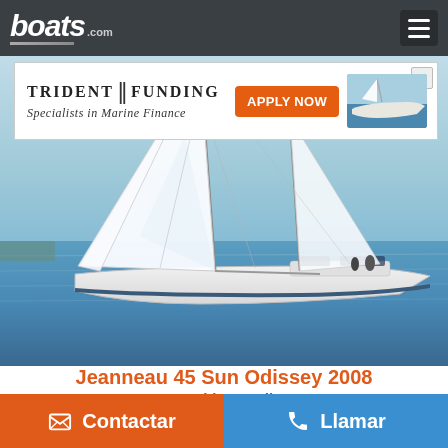boats.com
[Figure (screenshot): Advertisement banner for Trident Funding - Specialists in Marine Finance with Apply Now button]
[Figure (photo): Sailboat (Jeanneau 45 Sun Odissey) sailing on open water with full white sails deployed, blue sky and water]
Jeanneau 45 Sun Odissey 2008
Rosebiere, Italia
Contactar
Llamar